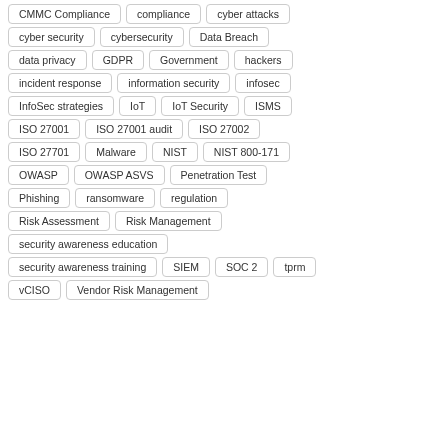CMMC Compliance
compliance
cyber attacks
cyber security
cybersecurity
Data Breach
data privacy
GDPR
Government
hackers
incident response
information security
infosec
InfoSec strategies
IoT
IoT Security
ISMS
ISO 27001
ISO 27001 audit
ISO 27002
ISO 27701
Malware
NIST
NIST 800-171
OWASP
OWASP ASVS
Penetration Test
Phishing
ransomware
regulation
Risk Assessment
Risk Management
security awareness education
security awareness training
SIEM
SOC 2
tprm
vCISO
Vendor Risk Management